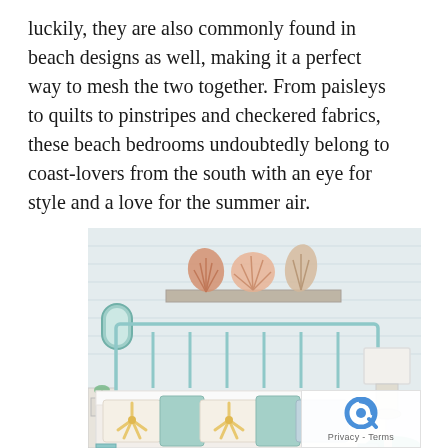luckily, they are also commonly found in beach designs as well, making it a perfect way to mesh the two together. From paisleys to quilts to pinstripes and checkered fabrics, these beach bedrooms undoubtedly belong to coast-lovers from the south with an eye for style and a love for the summer air.
[Figure (photo): A coastal beach bedroom with a mint/aqua metal bed frame headboard, white shiplap walls, decorative coral and shell pieces on a distressed white wall shelf, starfish-patterned pillows in white and aqua, a small arch mirror, white nightstand with plant, lamp, and aqua side table.]